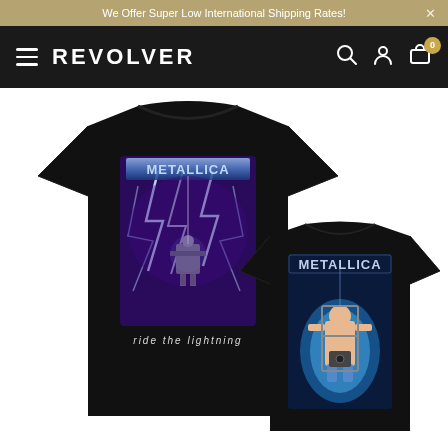We Offer Super Low International Shipping Rates!
REVOLVER
[Figure (photo): Front and back view of a black Metallica 'Ride the Lightning' t-shirt. The front shows the album artwork with Metallica logo, electric chair with lightning bolts on a purple stormy background and text 'RIDE THE LIGHTNING'. The back shows METALLICA text with a figure strapped to an electric chair on a blue glowing background.]